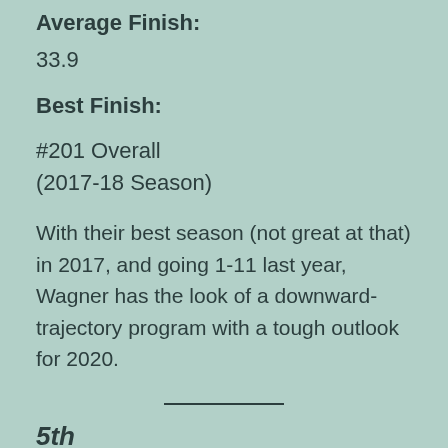Average Finish:
33.9
Best Finish:
#201 Overall
(2017-18 Season)
With their best season (not great at that) in 2017, and going 1-11 last year, Wagner has the look of a downward-trajectory program with a tough outlook for 2020.
5th